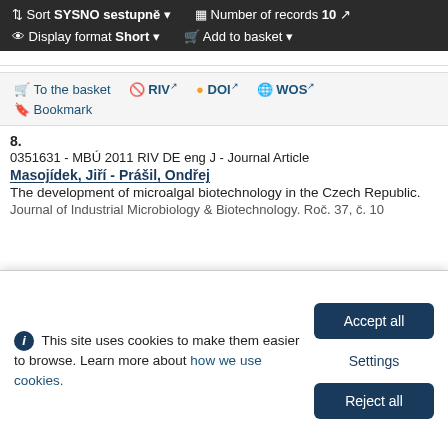Sort SYSNO sestupně ▾   Number of records 10   Display format Short ▾   Add to basket ▾
To the basket
RIV
DOI
WOS
Bookmark
8.
0351631 - MBÚ 2011 RIV DE eng J - Journal Article
Masojídek, Jiří - Prášil, Ondřej
The development of microalgal biotechnology in the Czech Republic.
Journal of Industrial Microbiology & Biotechnology. Roč. 37, č. 10...
This site uses cookies to make them easier to browse. Learn more about how we use cookies.